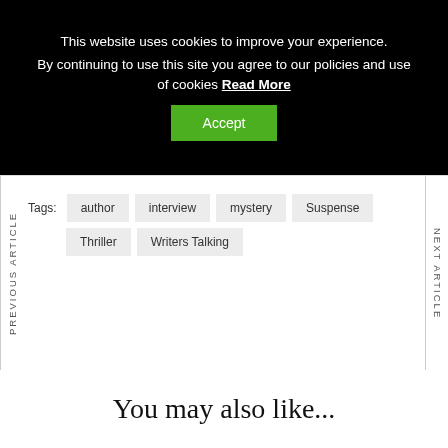This website uses cookies to improve your experience. By continuing to use this site you agree to our policies and use of cookies Read More
Accept
PREVIOUS ARTICLE
NEXT ARTICLE
Tags: author  interview  mystery  Suspense  Thriller  Writers Talking
You may also like...